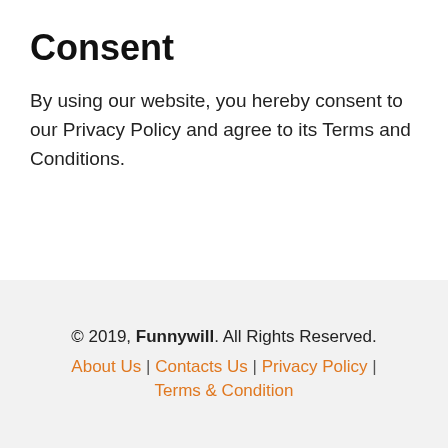Consent
By using our website, you hereby consent to our Privacy Policy and agree to its Terms and Conditions.
© 2019, Funnywill. All Rights Reserved. About Us | Contacts Us | Privacy Policy | Terms & Condition